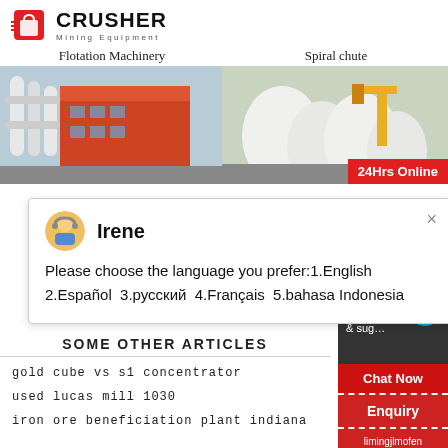[Figure (logo): Crusher Mining Equipment logo with red shopping bag icon and bold CRUSHER text]
Flotation Machinery
Spiral chute
[Figure (photo): Two side-by-side photos: left showing industrial flotation machinery building with pipes, right showing spiral chute equipment with a 24Hrs Online red badge]
[Figure (screenshot): Chat popup with avatar of Irene saying: Please choose the language you prefer:1.English 2.Español 3.русский 4.Français 5.bahasa Indonesia]
SOME OTHER ARTICLES
gold cube vs s1 concentrator
used lucas mill 1030
iron ore beneficiation plant indiana
[Figure (infographic): Right sidebar with Need & suggestions circle badge showing 1, Chat Now red button, Enquiry section, and limingjlmofen@sina.com email]